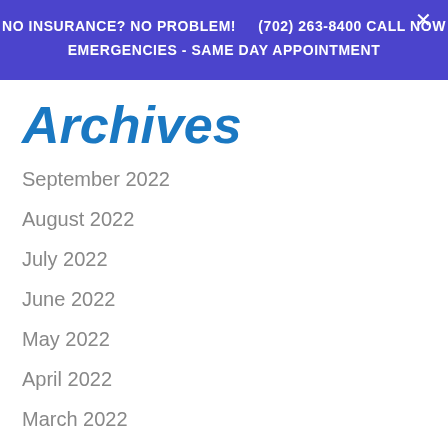NO INSURANCE? NO PROBLEM!    (702) 263-8400 CALL NOW    EMERGENCIES - SAME DAY APPOINTMENT
Archives
September 2022
August 2022
July 2022
June 2022
May 2022
April 2022
March 2022